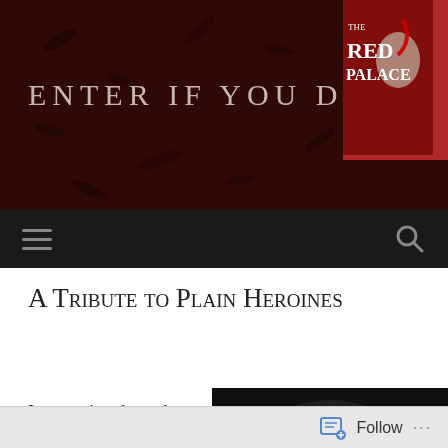ENTER IF YOU DARE
[Figure (illustration): Book cover for 'The Red Palace' shown in upper right of dark red header banner]
[Figure (other): Navigation bar with hamburger menu icon on left and search icon on right, dark background]
A Tribute to Plain Heroines
I was going through reviews from my readers
[Figure (photo): Black and white close-up photograph of a woman's face looking downward with dark hair]
Follow ...